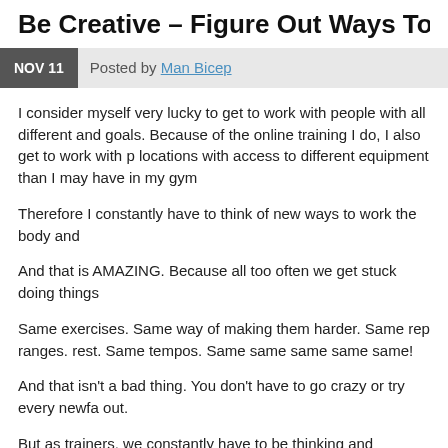Be Creative – Figure Out Ways To Challe
NOV 11   Posted by Man Bicep
I consider myself very lucky to get to work with people with all different and goals. Because of the online training I do, I also get to work with p locations with access to different equipment than I may have in my gym
Therefore I constantly have to think of new ways to work the body and
And that is AMAZING. Because all too often we get stuck doing things
Same exercises. Same way of making them harder. Same rep ranges. rest. Same tempos. Same same same same same!
And that isn't a bad thing. You don't have to go crazy or try every newfa out.
But as trainers, we constantly have to be thinking and adjusting to mak of people in all sorts of situations. (Or if you travel a lot and work out in limited equipment this may just help you too.)